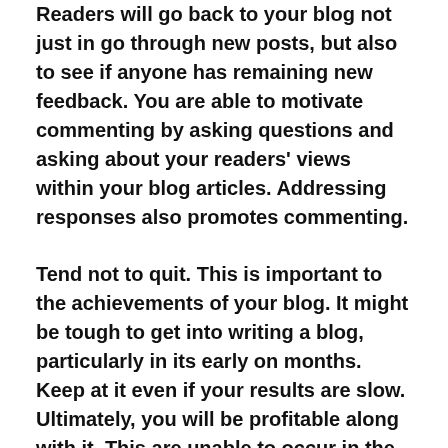Readers will go back to your blog not just in go through new posts, but also to see if anyone has remaining new feedback. You are able to motivate commenting by asking questions and asking about your readers' views within your blog articles. Addressing responses also promotes commenting.
Tend not to quit. This is important to the achievements of your blog. It might be tough to get into writing a blog, particularly in its early on months. Keep at it even if your results are slow. Ultimately, you will be profitable along with it. This are unable to occur in the event you cease, although.
Basic isn't usually greater with regards to writing a blog. Rather, take Click at %url_domain% of running a blog such as a organization, and perform a lot of research in